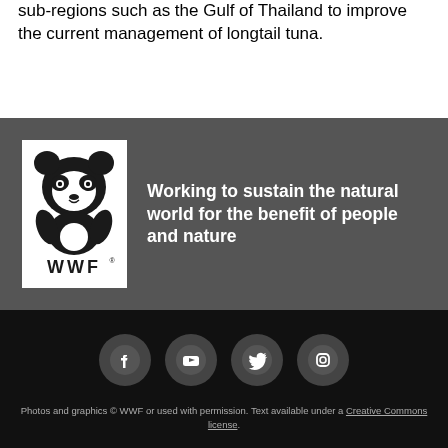sub-regions such as the Gulf of Thailand to improve the current management of longtail tuna.
[Figure (logo): WWF panda logo with 'WWF' text below, on white background]
Working to sustain the natural world for the benefit of people and nature
[Figure (infographic): Social media icons: Facebook, YouTube, Twitter, Instagram — white icons on dark grey circles]
Photos and graphics © WWF or used with permission. Text available under a Creative Commons license.